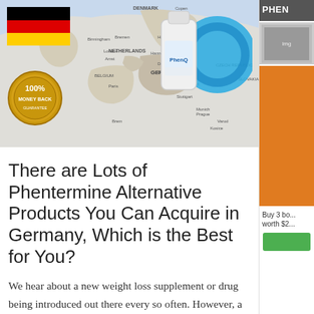[Figure (photo): Banner image with a map of Europe (showing DENMARK, NETHERLANDS, GERMANY, CZECH REPUBLIC, SLOVAKIA, UNITED KINGDOM), a German flag in the top-left, a 100% Money Back gold badge at the bottom-left, and a PhenQ product bottle with the PhenQ logo on the right side.]
There are Lots of Phentermine Alternative Products You Can Acquire in Germany, Which is the Best for You?
We hear about a new weight loss supplement or drug being introduced out there every so often. However, a lot of them become a total hoax or counterfeit supplement which do more injury
[Figure (screenshot): Sidebar panel showing PHEN header, a small image thumbnail, an orange promotional block, text 'Buy 3 bo... worth $2...' and a green button.]